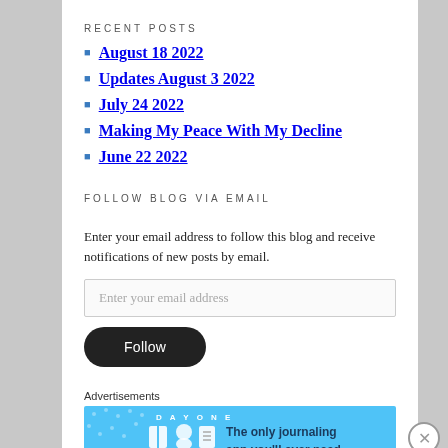RECENT POSTS
August 18 2022
Updates August 3 2022
July 24 2022
Making My Peace With My Decline
June 22 2022
FOLLOW BLOG VIA EMAIL
Enter your email address to follow this blog and receive notifications of new posts by email.
Enter your email address
Follow
Advertisements
[Figure (illustration): Day One journaling app advertisement banner with blue background, app icons, and text 'The only journaling app you'll ever need.']